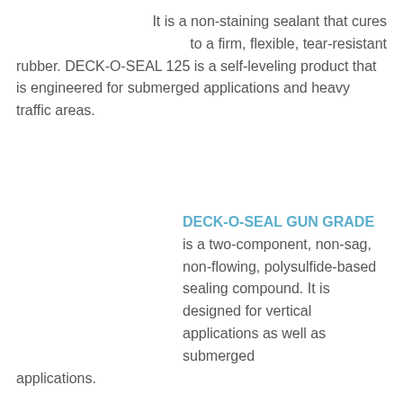It is a non-staining sealant that cures to a firm, flexible, tear-resistant rubber. DECK-O-SEAL 125 is a self-leveling product that is engineered for submerged applications and heavy traffic areas.
DECK-O-SEAL GUN GRADE is a two-component, non-sag, non-flowing, polysulfide-based sealing compound. It is designed for vertical applications as well as submerged applications.